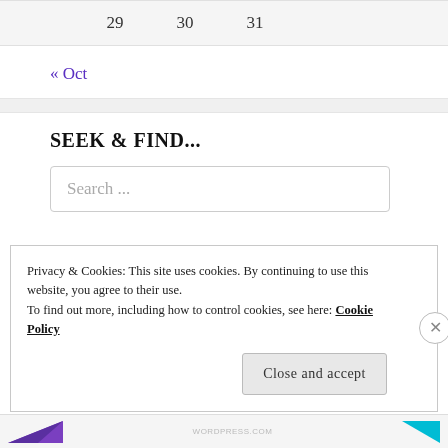| 29 | 30 | 31 |
« Oct
SEEK & FIND...
Search ...
Privacy & Cookies: This site uses cookies. By continuing to use this website, you agree to their use. To find out more, including how to control cookies, see here: Cookie Policy
Close and accept